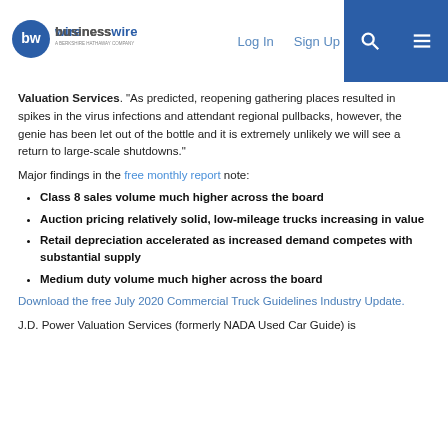businesswire - A BERKSHIRE HATHAWAY COMPANY | Log In | Sign Up
Valuation Services. “As predicted, reopening gathering places resulted in spikes in the virus infections and attendant regional pullbacks, however, the genie has been let out of the bottle and it is extremely unlikely we will see a return to large-scale shutdowns.”
Major findings in the free monthly report note:
Class 8 sales volume much higher across the board
Auction pricing relatively solid, low-mileage trucks increasing in value
Retail depreciation accelerated as increased demand competes with substantial supply
Medium duty volume much higher across the board
Download the free July 2020 Commercial Truck Guidelines Industry Update.
J.D. Power Valuation Services (formerly NADA Used Car Guide) is